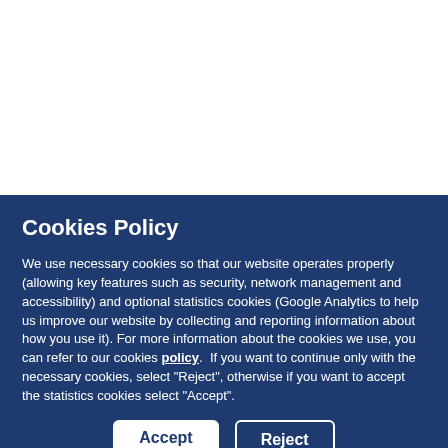[Figure (screenshot): White background top portion of a webpage, partially obscured by a cookie policy modal overlay. ATHEX Certificate tab visible at top right.]
Cookies Policy
We use necessary cookies so that our website operates properly (allowing key features such as security, network management and accessibility) and optional statistics cookies (Google Analytics to help us improve our website by collecting and reporting information about how you use it). For more information about the cookies we use, you can refer to our cookies policy.  If you want to continue only with the necessary cookies, select "Reject", otherwise if you want to accept the statistics cookies select "Accept".
Accept
Reject